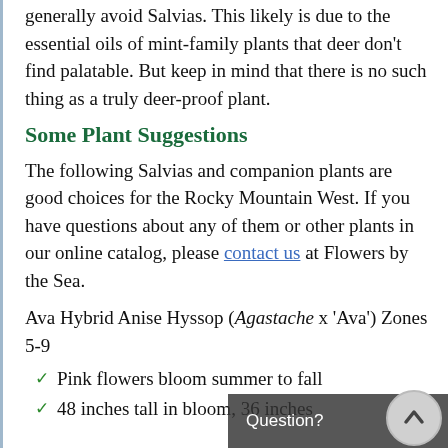generally avoid Salvias. This likely is due to the essential oils of mint-family plants that deer don't find palatable. But keep in mind that there is no such thing as a truly deer-proof plant.
Some Plant Suggestions
The following Salvias and companion plants are good choices for the Rocky Mountain West. If you have questions about any of them or other plants in our online catalog, please contact us at Flowers by the Sea.
Ava Hybrid Anise Hyssop (Agastache x 'Ava') Zones 5-9
Pink flowers bloom summer to fall
48 inches tall in bloom, 36 inches